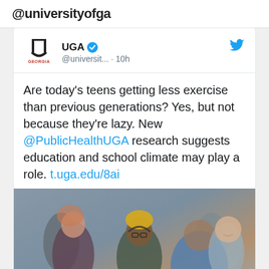@universityofga
UGA @universit... · 10h
Are today's teens getting less exercise than previous generations? Yes, but not because they're lazy. New @PublicHealthUGA research suggests education and school climate may play a role. t.uga.edu/8ai
[Figure (photo): A group of teenagers sitting together outdoors, smiling and talking. A young man wearing a yellow beanie, glasses, and headphones is in the center, laughing.]
news.uga.edu
75% of teens aren't getting